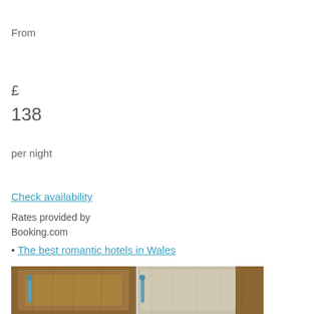From
£
138
per night
Check availability
Rates provided by
Booking.com
The best romantic hotels in Wales
[Figure (photo): Photo of wooden cabinet or wardrobe doors with blue/teal handle hardware, split into two panels]